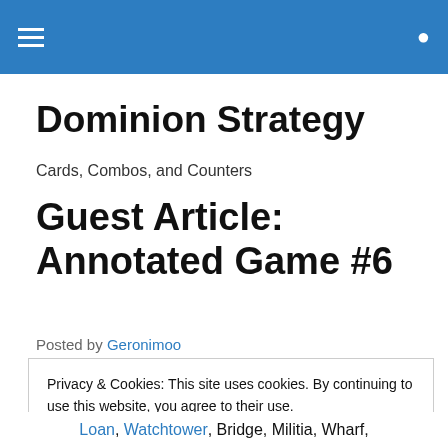≡  🔍
Dominion Strategy
Cards, Combos, and Counters
Guest Article: Annotated Game #6
Posted by Geronimoo
Privacy & Cookies: This site uses cookies. By continuing to use this website, you agree to their use.
To find out more, including how to control cookies, see here: Cookie Policy
Close and accept
Loan, Watchtower, Bridge, Militia, Wharf,